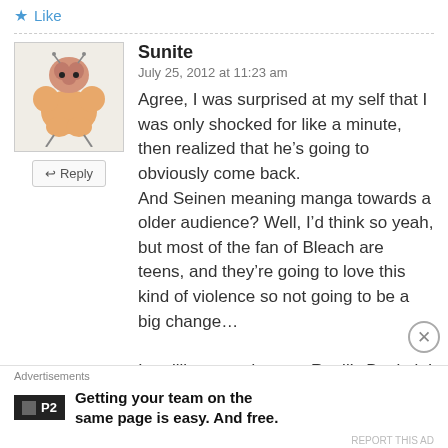★ Like
Sunite
July 25, 2012 at 11:23 am
Agree, I was surprised at my self that I was only shocked for like a minute, then realized that he's going to obviously come back. And Seinen meaning manga towards a older audience? Well, I'd think so yeah, but most of the fan of Bleach are teens, and they're going to love this kind of violence so not going to be a big change…

I realllly wanted to see Renji's Bankai, I think
Advertisements
Getting your team on the same page is easy. And free.